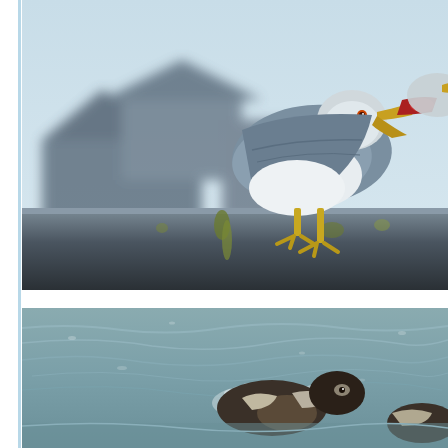[Figure (photo): A seagull standing on the edge of a dark metal surface (likely a boat or dock railing), holding something red in its open beak. The bird has gray-blue wings, white body, and yellow legs and beak. A blurred building is visible in the background against a pale sky.]
[Figure (photo): A bird (likely a duck or seabird) partially submerged in choppy gray-green water, with water splashing around it. The scene shows open water with small waves.]